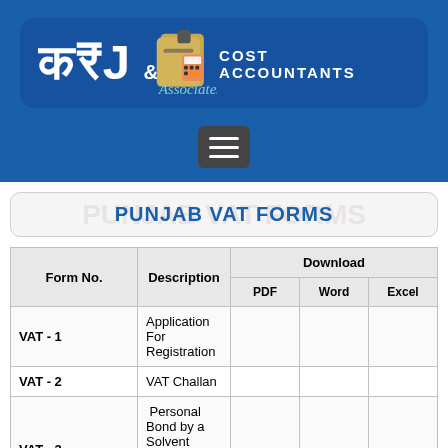[Figure (logo): KRJ & Associates Cost Accountants logo — blue rounded rectangle with white Hindi-style KRJ lettering, clipboard/calculator icon, teal 'Associates' italic text, and bold white 'COST ACCOUNTANTS' subtitle]
PUNJAB VAT FORMS
| Form No. | Description | PDF | Word | Excel |
| --- | --- | --- | --- | --- |
| VAT - 1 | Application For Registration |  |  |  |
| VAT - 2 | VAT Challan |  |  |  |
| VAT - 3 | Personal Bond by a Solvent Under Punjab Vat Act, 2005 |  |  |  |